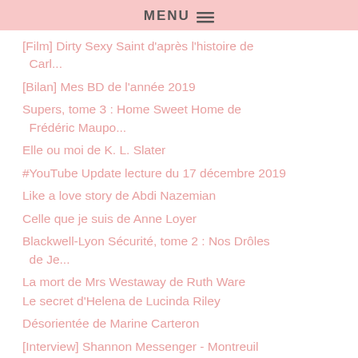MENU
[Film] Dirty Sexy Saint d'après l'histoire de Carl...
[Bilan] Mes BD de l'année 2019
Supers, tome 3 : Home Sweet Home de Frédéric Maupo...
Elle ou moi de K. L. Slater
#YouTube Update lecture du 17 décembre 2019
Like a love story de Abdi Nazemian
Celle que je suis de Anne Loyer
Blackwell-Lyon Sécurité, tome 2 : Nos Drôles de Je...
La mort de Mrs Westaway de Ruth Ware
Hell's horsemen, tome 5 : Immuable de Madeline She...
Le secret d'Helena de Lucinda Riley
Désorientée de Marine Carteron
[Interview] Shannon Messenger - Montreuil
[Figure (logo): Round pink/salmon gradient logo circle with cursive 'Up' text in white]